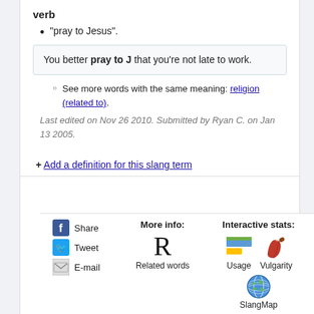verb
"pray to Jesus".
You better pray to J that you're not late to work.
See more words with the same meaning: religion (related to).
Last edited on Nov 26 2010. Submitted by Ryan C. on Jan 13 2005.
+ Add a definition for this slang term
Share  Tweet  E-mail  More info: R Related words  Interactive stats: Usage  Vulgarity  SlangMap